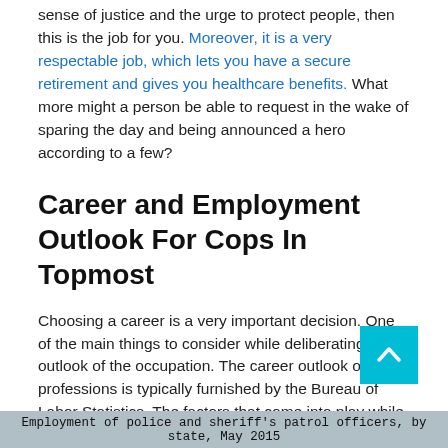sense of justice and the urge to protect people, then this is the job for you. Moreover, it is a very respectable job, which lets you have a secure retirement and gives you healthcare benefits. What more might a person be able to request in the wake of sparing the day and being announced a hero according to a few?
Career and Employment Outlook For Cops In Topmost
Choosing a career is a very important decision. One of the main things to consider while deliberating is the outlook of the occupation. The career outlook of all professions is typically furnished by the Bureau of Labor Statistics. The factors that come into play while predicting this include the future need for that profession and the spending nature of the employers. Let's see what the career outlook of a cop look likes.
[asd_program_button /]
Employment of police and sheriff's patrol officers, by state, May 2015